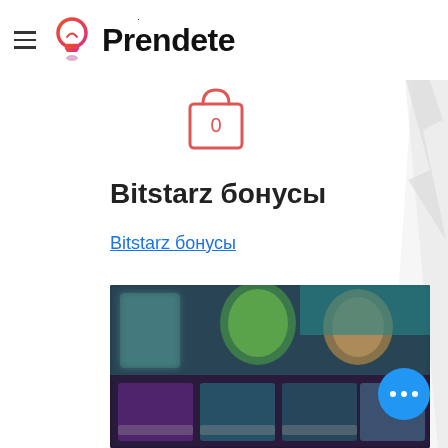[Figure (logo): Prendete logo with orange-red lightbulb icon and bold text 'Prendete']
[Figure (other): Shopping cart icon with number 0 inside, outlined in red/coral]
Bitstarz бонусы
Bitstarz бонусы
[Figure (screenshot): Blurred screenshot of a gaming or streaming website with dark background, colorful thumbnails of games or videos]
[Figure (other): Blue circular floating action button with three white dots (ellipsis)]